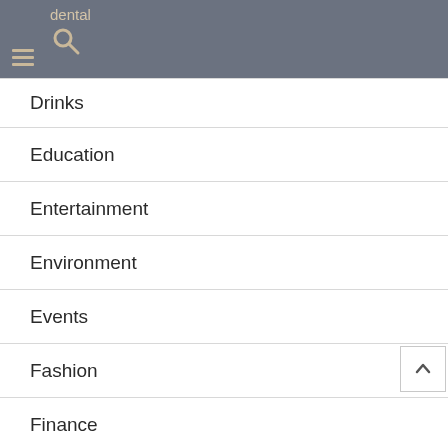dental
Drinks
Education
Entertainment
Environment
Events
Fashion
Finance
Fitness
Food
Gadgets
Games